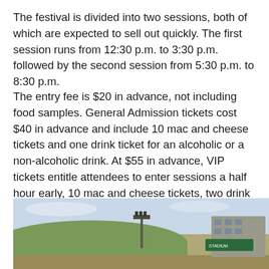The festival is divided into two sessions, both of which are expected to sell out quickly. The first session runs from 12:30 p.m. to 3:30 p.m. followed by the second session from 5:30 p.m. to 8:30 p.m.
The entry fee is $20 in advance, not including food samples. General Admission tickets cost $40 in advance and include 10 mac and cheese tickets and one drink ticket for an alcoholic or a non-alcoholic drink. At $55 in advance, VIP tickets entitle attendees to enter sessions a half hour early, 10 mac and cheese tickets, two drink tickets as well as provide access to private bathrooms and a VIP area.
[Figure (photo): Outdoor photo of a stadium with green mounds/stands visible on the left, a tall light tower in the center, a multi-story building on the right, and a green sign partially visible. Sky is light blue with some haze.]